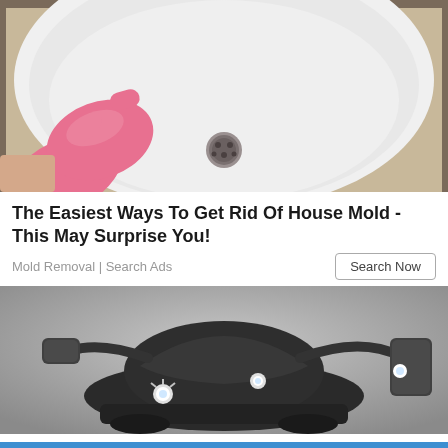[Figure (photo): Photo of a hand wearing a pink rubber glove pointing at a clean white bathroom sink with a metal drain, with beige tile grout visible in the background.]
The Easiest Ways To Get Rid Of House Mold - This May Surprise You!
Mold Removal | Search Ads
[Figure (photo): Photo of a dark-colored personal mobility scooter/vehicle with LED lights, viewed from the front-right angle against a grey background.]